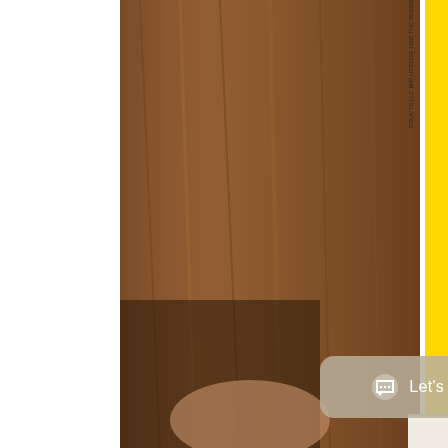[Figure (photo): A photograph of a cannabis product label/packaging held in front of a wooden background. The label has a yellow strip running vertically that reads 'TOTAL POTENCY: THC 10MG, TAL SERVING POTENCY: THC 1M' in bold black uppercase text. To the right is a partial view of another label. A 'Let's Chat!' chat button overlay appears at the bottom of the image. The bottom shows partial numbers.]